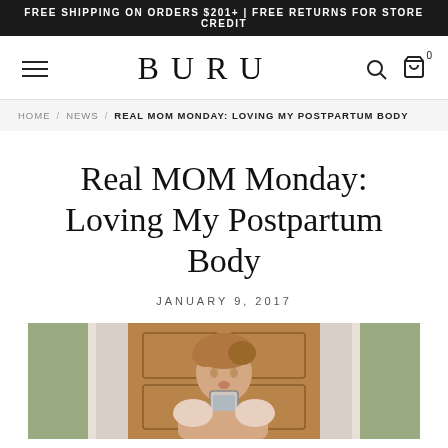FREE SHIPPING ON ORDERS $201+ | FREE RETURNS FOR STORE CREDIT
[Figure (logo): BURU brand logo with hamburger menu, search icon, and cart icon (0 items) in navigation bar]
HOME / NEWS / REAL MOM MONDAY: LOVING MY POSTPARTUM BODY
Real MOM Monday: Loving My Postpartum Body
JANUARY 9, 2017
[Figure (photo): Bathroom mirror selfie of a woman with short hair holding a phone, wooden door in the background, green wall visible]